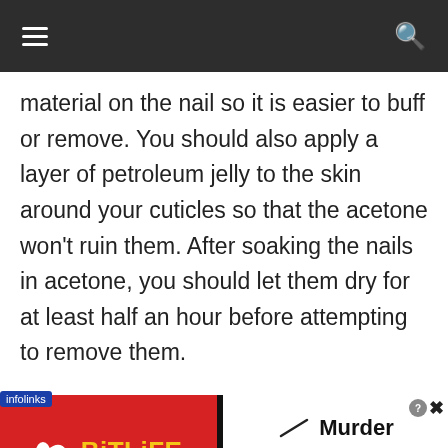material on the nail so it is easier to buff or remove. You should also apply a layer of petroleum jelly to the skin around your cuticles so that the acetone won't ruin them. After soaking the nails in acetone, you should let them dry for at least half an hour before attempting to remove them.
[Figure (screenshot): BitLife advertisement banner with red left panel showing BitLife logo and yellow text, black divider, and white right panel showing knife graphic, Murder text, and 'Do it!' cyan button. Infolinks label at top-left of banner.]